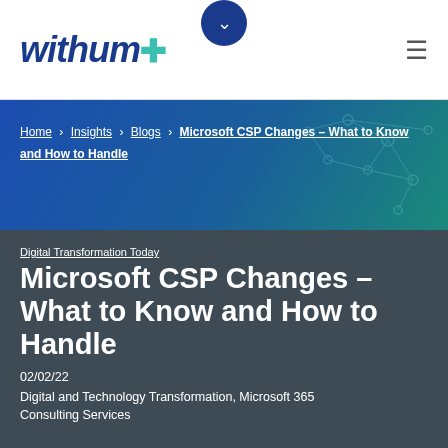withum+ (logo with hamburger menu)
Home › Insights › Blogs › Microsoft CSP Changes – What to Know and How to Handle
Digital Transformation Today
Microsoft CSP Changes – What to Know and How to Handle
02/02/22
Digital and Technology Transformation, Microsoft 365 Consulting Services